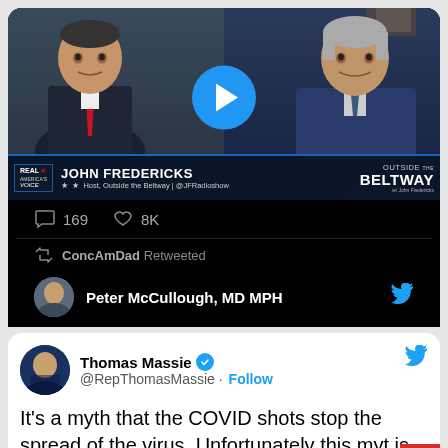[Figure (screenshot): Screenshot of a tweet with embedded video thumbnail showing John Fredericks on 'Outside the Beltway' (Real America's Voice). Two people visible in split-screen video. Play button overlay. Stats: 169 comments, 8K likes. ConcAmDad Retweeted. Peter McCullough, MD MPH account shown.]
[Figure (screenshot): Screenshot of a tweet by Thomas Massie (@RepThomasMassie) with verified badge and Follow button. Tweet text begins: 'It's a myth that the COVID shots stop the spread of the virus. Unfortunately this myth is still the basis of policies and decisions']
Thomas Massie
@RepThomasMassie · Follow
It's a myth that the COVID shots stop the spread of the virus. Unfortunately this myt is still the basis of policies and decisions